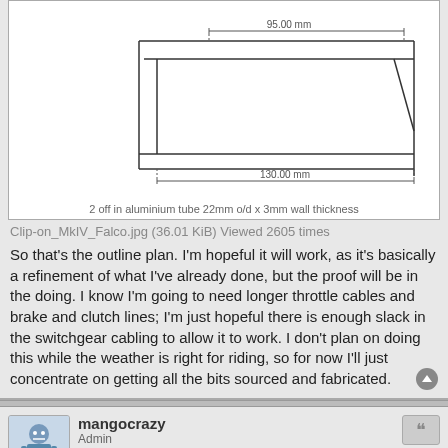[Figure (engineering-diagram): Technical drawing of a clip-on handlebar component showing dimensions 95.00mm and 130.00mm, with an angled cut detail]
2 off in aluminium tube 22mm o/d x 3mm wall thickness
Clip-on_MkIV_Falco.jpg (36.01 KiB) Viewed 2605 times
So that's the outline plan. I'm hopeful it will work, as it's basically a refinement of what I've already done, but the proof will be in the doing. I know I'm going to need longer throttle cables and brake and clutch lines; I'm just hopeful there is enough slack in the switchgear cabling to allow it to work. I don't plan on doing this while the weather is right for riding, so for now I'll just concentrate on getting all the bits sourced and fabricated.
mangocrazy
Admin